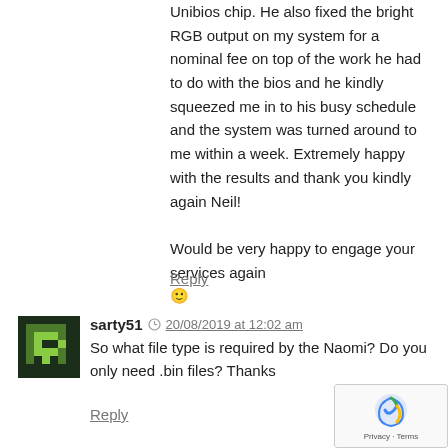Unibios chip. He also fixed the bright RGB output on my system for a nominal fee on top of the work he had to do with the bios and he kindly squeezed me in to his busy schedule and the system was turned around to me within a week. Extremely happy with the results and thank you kindly again Neil!

Would be very happy to engage your services again 🙂
Reply
sarty51  20/08/2019 at 12:02 am
So what file type is required by the Naomi? Do you only need .bin files? Thanks
Reply
8bitplus  20/08/2019 at 5:56 am
That's correct.
Reply